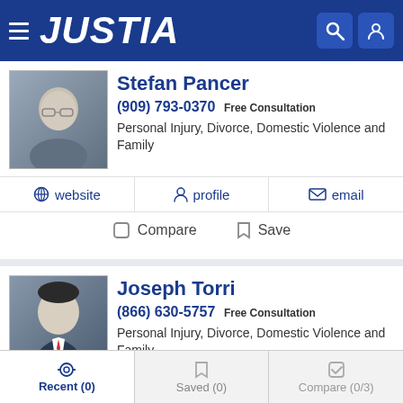JUSTIA
Stefan Pancer
(909) 793-0370 Free Consultation
Personal Injury, Divorce, Domestic Violence and Family
website | profile | email
Compare | Save
Joseph Torri
(866) 630-5757 Free Consultation
Personal Injury, Divorce, Domestic Violence and Family
website | profile | email
Compare | Save
Recent (0) | Saved (0) | Compare (0/3)